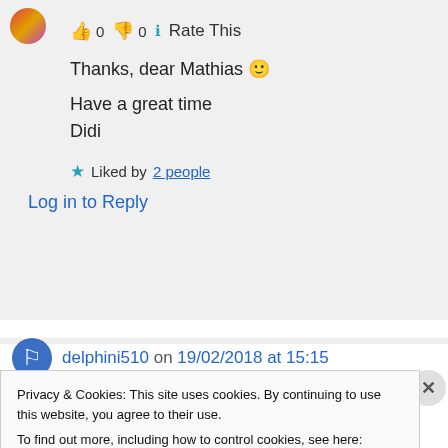[Figure (illustration): Circular avatar with colorful gradient (red, orange, purple) in top-left corner]
👍 0 👎 0 ℹ Rate This
Thanks, dear Mathias 🙂
Have a great time
Didi
★ Liked by 2 people
Log in to Reply
[Figure (illustration): Circular blue avatar with person silhouette icon]
delphini510 on 19/02/2018 at 15:15
Privacy & Cookies: This site uses cookies. By continuing to use this website, you agree to their use.
To find out more, including how to control cookies, see here: Cookie Policy
Close and accept